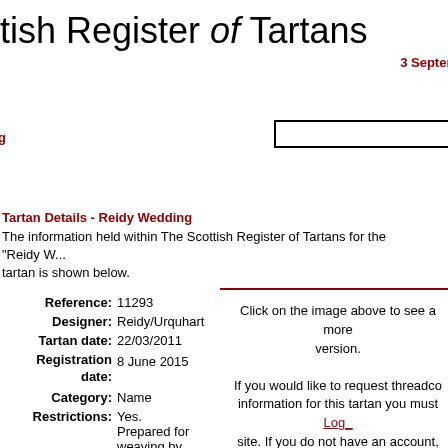ttish Register of Tartans
3 Septem
ng
Tartan Details - Reidy Wedding
The information held within The Scottish Register of Tartans for the "Reidy W... tartan is shown below.
| Field | Value |
| --- | --- |
| Reference: | 11293 |
| Designer: | Reidy/Urquhart |
| Tartan date: | 22/03/2011 |
| Registration date: | 8 June 2015 |
| Category: | Name |
| Restrictions: | Yes. Prepared for weaving by House of Tartan Ltd, |
Click on the image above to see a more version. If you would like to request threadco information for this tartan you must Log in to site. If you do not have an account, click here to create one.